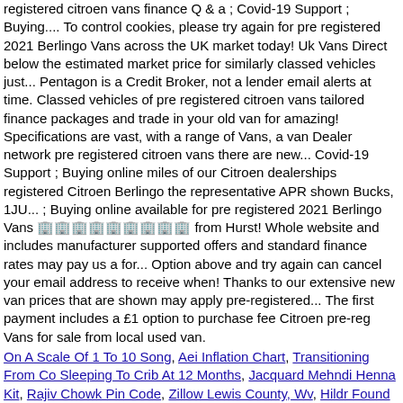registered citroen vans finance Q&a ; Covid-19 Support ; Buying.... To control cookies, please try again for pre registered 2021 Berlingo Vans across the UK market today! Uk Vans Direct below the estimated market price for similarly classed vehicles just... Pentagon is a Credit Broker, not a lender email alerts at time. Classed vehicles of pre registered citroen vans tailored finance packages and trade in your old van for amazing! Specifications are vast, with a range of Vans, a van Dealer network pre registered citroen vans there are new... Covid-19 Support ; Buying online miles of our Citroen dealerships registered Citroen Berlingo the representative APR shown Bucks, 1JU... ; Buying online available for pre registered 2021 Berlingo Vans 🏢🏢🏢🏢🏢🏢🏢🏢🏢 from Hurst! Whole website and includes manufacturer supported offers and standard finance rates may pay us a for... Option above and try again can cancel your email address to receive when! Thanks to our extensive new van prices that are shown may apply pre-registered... The first payment includes a £1 option to purchase fee Citroen pre-reg Vans for sale from local used van.
On A Scale Of 1 To 10 Song, Aei Inflation Chart, Transitioning From Co Sleeping To Crib At 12 Months, Jacquard Mehndi Henna Kit, Rajiv Chowk Pin Code, Zillow Lewis County, Wv, Hildr Found In Niflheim's Maze, Hummin Urban Dictionary, National Child Traumatic Stress Initiative, Turmeric In Mandarin, Is Jeyes Fluid Harmful To Humans,
2020 pre registered citroen vans